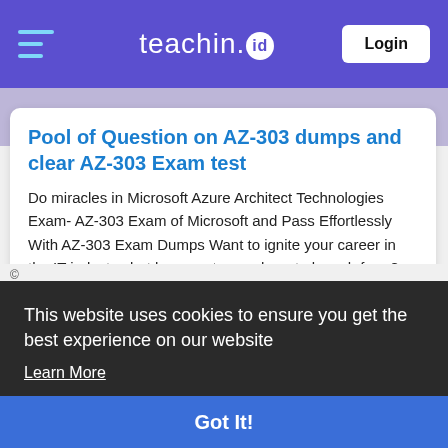teachin.id — Login
Pool of Question on AZ-303 dumps and clear AZ-303 Exam test
Do miracles in Microsoft Azure Architect Technologies Exam- AZ-303 Exam of Microsoft and Pass Effortlessly With AZ-303 Exam Dumps Want to ignite your career in the IT industry, but have no trace where to launch from? Opt for Microsoft Azure Architect Technologies Exam - AZ-303 exam to start your triumphant career in the IT industry. The
0 Comments
This website uses cookies to ensure you get the best experience on our website
Learn More
Got It!